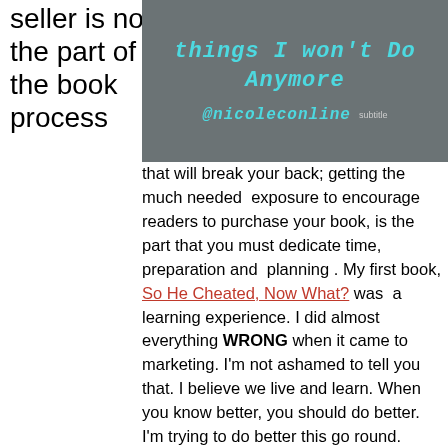seller is not the part of the book process
[Figure (infographic): Dark grey banner with handwritten-style cyan text reading 'things I won't Do Anymore' and '@nicoleconline' with a small logo]
that will break your back; getting the much needed exposure to encourage readers to purchase your book, is the part that you must dedicate time, preparation and planning . My first book, So He Cheated, Now What? was a learning experience. I did almost everything WRONG when it came to marketing. I'm not ashamed to tell you that. I believe we live and learn. When you know better, you should do better. I'm trying to do better this go round.
...